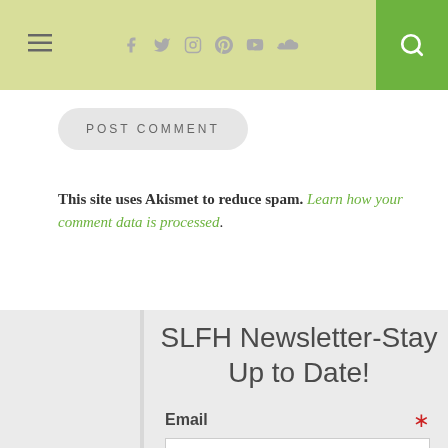≡  [social icons: facebook, twitter, instagram, pinterest, youtube, soundcloud]  [search icon]
POST COMMENT
This site uses Akismet to reduce spam. Learn how your comment data is processed.
SLFH Newsletter-Stay Up to Date!
Email * you@example.com